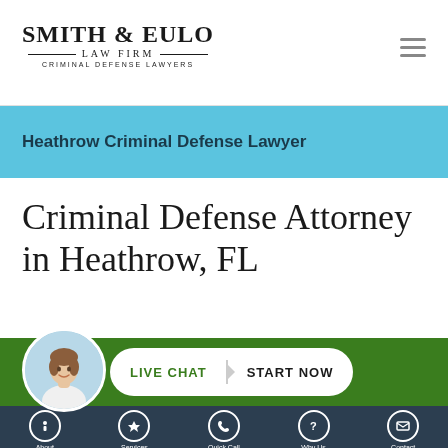[Figure (logo): Smith & Eulo Law Firm logo with 'Criminal Defense Lawyers' tagline]
Heathrow Criminal Defense Lawyer
Criminal Defense Attorney in Heathrow, FL
[Figure (infographic): Live Chat Start Now button with female avatar on green background bar]
About | Services | Quick Call | Why Us | Contact